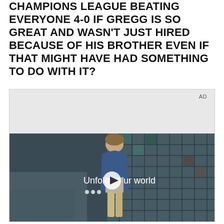CHAMPIONS LEAGUE BEATING EVERYONE 4-0 IF GREGG IS SO GREAT AND WASN'T JUST HIRED BECAUSE OF HIS BROTHER EVEN IF THAT MIGHT HAVE HAD SOMETHING TO DO WITH IT?
[Figure (screenshot): Advertisement video thumbnail showing a young man in a denim jacket standing in what appears to be a food court or cafeteria with a tiled wall behind him. Text overlay reads 'Unfold your world' with a play button in the center. AD label in top right corner. Gray banner area at top.]